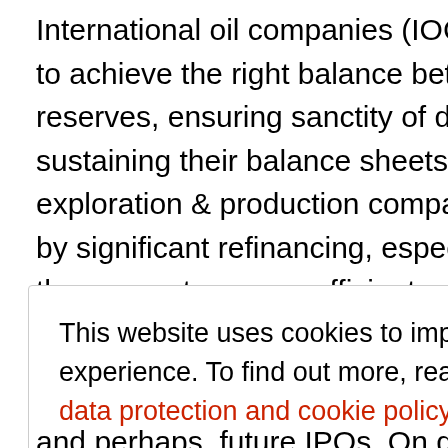International oil companies (IOC), are working hard to achieve the right balance between replacing reserves, ensuring sanctity of dividend, and sustaining their balance sheets. The independent exploration & production companies are stressed by significant refinancing, especially now, when they cannot secure sufficient coverage by
This website uses cookies to improve your experience. To find out more, read our data privacy data protection and cookie policy
and perhaps, future IPOs. On deals, it